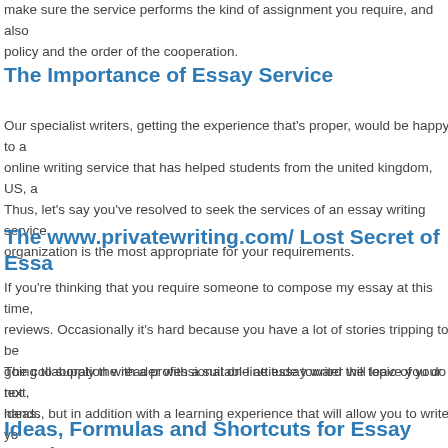make sure the service performs the kind of assignment you require, and also policy and the order of the cooperation.
The Importance of Essay Service
Our specialist writers, getting the experience that's proper, would be happy to a online writing service that has helped students from the united kingdom, US, a Thus, let's say you've resolved to seek the services of an essay writing service organization is the most appropriate for your requirements.
The www.privatewriting.com/ Lost Secret of Essa
If you're thinking that you require someone to compose my essay at this time, reviews. Occasionally it's hard because you have a lot of stories tripping to be going to supply the reader with a suitable attitude toward the topic of your text, ideas.
The collaboration with a professional on-line essay writer will leave you do not hands, but in addition with a learning experience that will allow you to write yo essay writers has been where you're. Choosing online essay writers isn't a nig
Ideas, Formulas and Shortcuts for Essay Service
While each scholarship application will have its very own special requirements